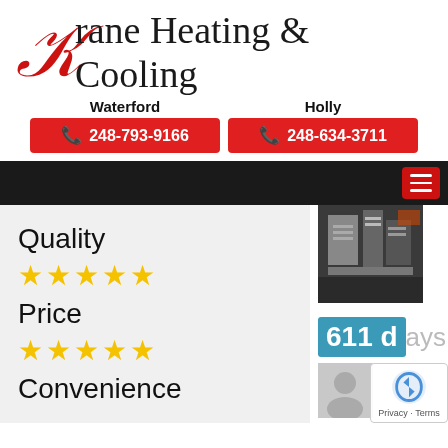Krane Heating & Cooling
Waterford  248-793-9166
Holly  248-634-3711
Quality ★★★★★
Price ★★★★★
Convenience
611 days
[Figure (photo): HVAC equipment installation photo]
[Figure (photo): User/profile avatar placeholder]
Privacy · Terms